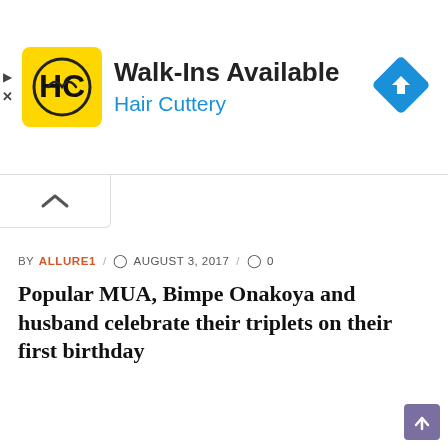[Figure (advertisement): Hair Cuttery ad banner with yellow logo, 'Walk-Ins Available' text, 'Hair Cuttery' subtitle in blue, and a blue navigation diamond icon on the right]
BY ALLURE1 / AUGUST 3, 2017 / 0
Popular MUA, Bimpe Onakoya and husband celebrate their triplets on their first birthday